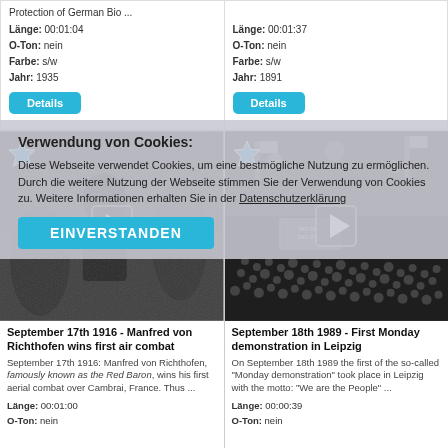Protection of German Bio ...
Länge: 00:01:04
O-Ton: nein
Farbe: s/w
Jahr: 1935
Details
Länge: 00:01:37
O-Ton: nein
Farbe: s/w
Jahr: 1891
Details
[Figure (photo): Black and white historical photo of a person in WWI era military gear]
September 17th 1916 - Manfred von Richthofen wins first air combat
September 17th 1916: Manfred von Richthofen, famously known as the Red Baron, wins his first aerial combat over Cambrai, France. Thus ...
Länge: 00:01:00
O-Ton: nein
[Figure (photo): Black and white historical photo of a large crowd at the Monday demonstration in Leipzig 1989]
September 18th 1989 - First Monday demonstration in Leipzig
On September 18th 1989 the first of the so-called "Monday demonstration" took place in Leipzig with the motto: "We are the People" ...
Länge: 00:00:39
O-Ton: nein
Verwendung von Cookies:
Diese Webseite verwendet Cookies, um eine bestmögliche Nutzung zu ermöglichen. Durch die weitere Nutzung der Webseite stimmen Sie der Verwendung von Cookies zu. Weitere Informationen erhalten Sie in der Datenschutzerklärung
EINVERSTANDEN